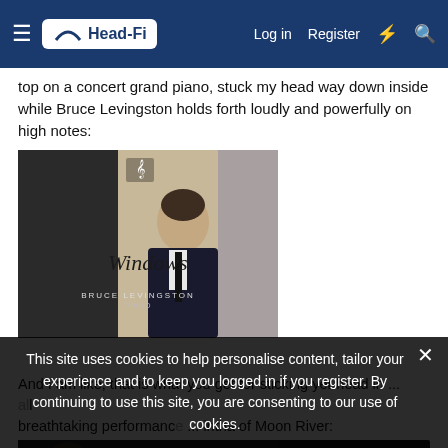Head-Fi | Log in | Register
top on a concert grand piano, stuck my head way down inside while Bruce Levingston holds forth loudly and powerfully on high notes:
[Figure (photo): Album cover for 'Windows' by Bruce Levingston, Piano. Shows a man in a dark suit with a tie against a light curtain background.]
And I am like, that is what you get for sticking yer head in ... all ... breathtaking performance ... intha of Moon River:
This site uses cookies to help personalise content, tailor your experience and to keep you logged in if you register. By continuing to use this site, you are consenting to our use of cookies.
[Figure (photo): Partial view of a dark video or image thumbnail at the bottom of the page.]